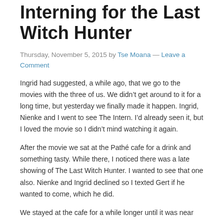Interning for the Last Witch Hunter
Thursday, November 5, 2015 by Tse Moana — Leave a Comment
Ingrid had suggested, a while ago, that we go to the movies with the three of us. We didn't get around to it for a long time, but yesterday we finally made it happen. Ingrid, Nienke and I went to see The Intern. I'd already seen it, but I loved the movie so I didn't mind watching it again.
After the movie we sat at the Pathé cafe for a drink and something tasty. While there, I noticed there was a late showing of The Last Witch Hunter. I wanted to see that one also. Nienke and Ingrid declined so I texted Gert if he wanted to come, which he did.
We stayed at the cafe for a while longer until it was near...